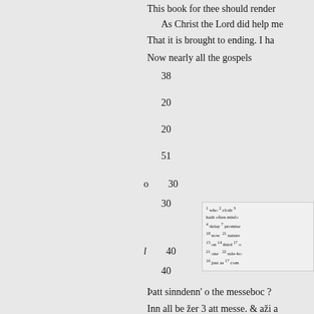This book for thee should render
As Christ the Lord did help me
That it is brought to ending. I ha
Now nearly all the gospels
38
20
20
51
o        30
30
1 who 2 cloth 3 hath often misfo 4 delay 7 promise 18 now 21 nature 15 on 14 third 17 o 21 one 22 rule-bo 16 just as 17 com
l        40
40
Þatt sinndenn' o the messeboc ?
Inn all be žer 3 att messe. & aži a